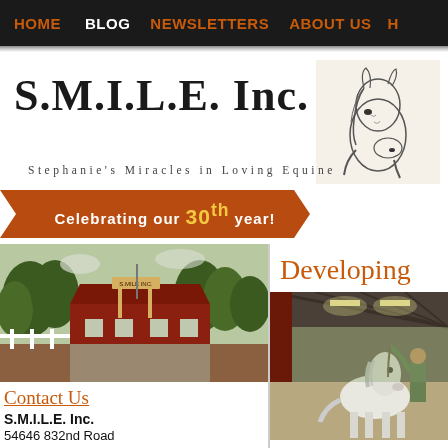HOME  BLOG  NEWSLETTERS  ABOUT US  H
S.M.I.L.E. Inc.
[Figure (illustration): Pencil sketch illustration of a horse head in profile]
Stephanie's Miracles in Loving Equine
Celebrating our 30th year!
[Figure (photo): Exterior photo of S.M.I.L.E. Inc. facility with gate sign and red barn building surrounded by trees]
Developing
[Figure (photo): Indoor arena photo showing a white horse being led by a person]
Contact Us
S.M.I.L.E. Inc.
54646 832nd Road